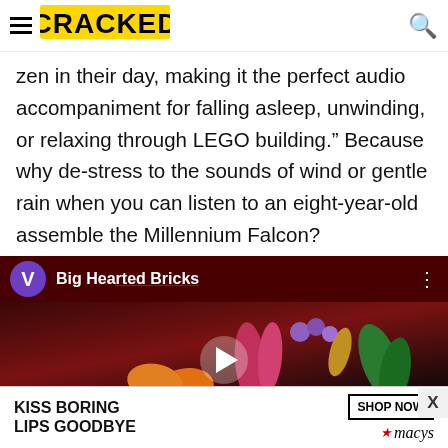CRACKED
zen in their day, making it the perfect audio accompaniment for falling asleep, unwinding, or relaxing through LEGO building.” Because why de-stress to the sounds of wind or gentle rain when you can listen to an eight-year-old assemble the Millennium Falcon?
[Figure (screenshot): YouTube video thumbnail showing 'Big Hearted Bricks' channel with LEGO flower bouquet on dark red background, with play button overlay]
[Figure (photo): Macy's advertisement: 'KISS BORING LIPS GOODBYE' with SHOP NOW button and Macy's star logo, woman with red lips]